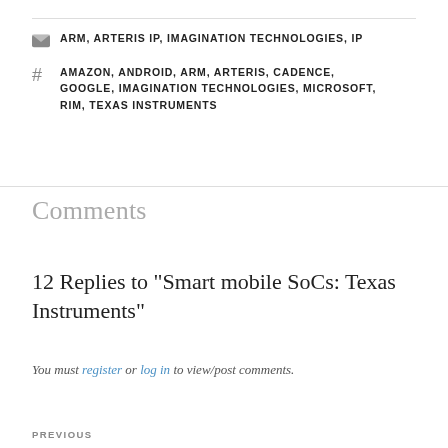ARM, ARTERIS IP, IMAGINATION TECHNOLOGIES, IP
AMAZON, ANDROID, ARM, ARTERIS, CADENCE, GOOGLE, IMAGINATION TECHNOLOGIES, MICROSOFT, RIM, TEXAS INSTRUMENTS
Comments
12 Replies to “Smart mobile SoCs: Texas Instruments”
You must register or log in to view/post comments.
PREVIOUS